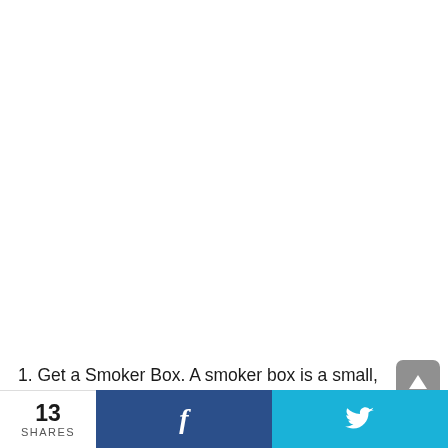1. Get a Smoker Box. A smoker box is a small,
...
13 SHARES  f  🐦